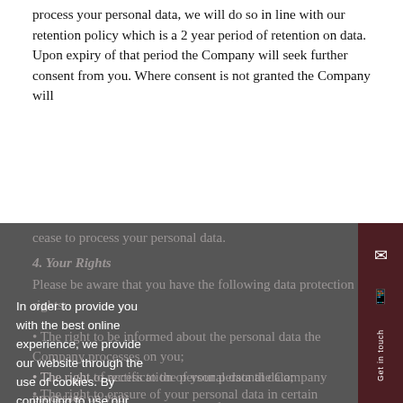process your personal data, we will do so in line with our retention policy which is a 2 year period of retention on data. Upon expiry of that period the Company will seek further consent from you. Where consent is not granted the Company will
cease to process your personal data.
4. Your Rights
Please be aware that you have the following data protection rights:
The right to be informed about the personal data the Company processes on you;
The right of access to the personal data the Company processes on you;
The right to rectification of your personal data;
The right to erasure of your personal data in certain circumstances;
The right to restrict processing of your personal
In order to provide you with the best online experience, we provide our website through the use of cookies. By continuing to use our website, you agree to the use of cookies. For more information on cookies and our opt-out options, please refer to our privacy notice